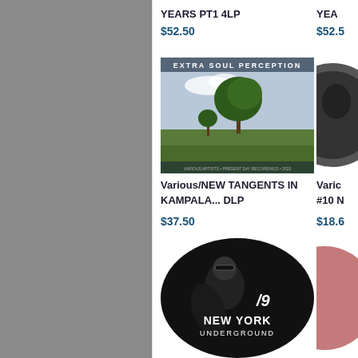YEARS PT1 4LP
$52.50
YEA...
$52.5...
[Figure (photo): Album cover: Extra Soul Perception - landscape with trees in green field, sky]
Various/NEW TANGENTS IN KAMPALA... DLP
$37.50
Varic... #10 ...
$18.6...
[Figure (photo): Album cover: New York Underground #9 - black and white photo of person with sunglasses, oval shape]
[Figure (photo): Partial pink/rose circular album cover on right edge]